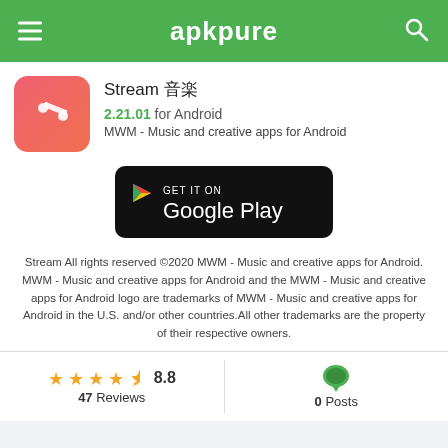apkpure
Stream 音楽
2.21.01 for Android
MWM - Music and creative apps for Android
[Figure (logo): Get it on Google Play badge]
Stream All rights reserved ©2020 MWM - Music and creative apps for Android. MWM - Music and creative apps for Android and the MWM - Music and creative apps for Android logo are trademarks of MWM - Music and creative apps for Android in the U.S. and/or other countries.All other trademarks are the property of their respective owners.
★★★★½ 8.8  47 Reviews
0 Posts
APKPure アプリを使ってインストール
最新のAndroidアドバイスと最適なAndroidアプリをインストール